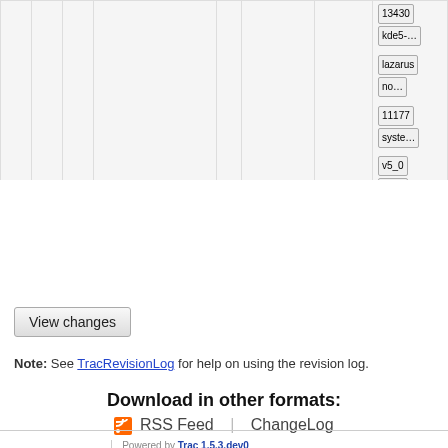|  |  |  | Revision |  | Age | Author | Tags/Branches |
| --- | --- | --- | --- | --- | --- | --- | --- |
|  |  |  |  |  |  |  | 13430 | kde5-... | lazarus | no... | 11177 | syste... | v5_0 | v5_0 | xry111/test-2... |
| ● | ○ | □ | @f45b1953 | ⚙ | 20 years | markh | Initial revision
11.1 | 6.0
6.3 | 6.3-rc1
7.6 | 7.6-blfs
8.1 | 8.2 | 8...
bdubbs/svn
13430 | kde5-...
lazarus | no...
systemd-111...
v1_0 | v5_0
xry111/intltoo... |
View changes
Note: See TracRevisionLog for help on using the revision log.
Download in other formats:
RSS Feed | ChangeLog
Powered by Trac 1.5.3.dev0
By Edgewall Software .
© 1998-2022 Gerard Beekmans